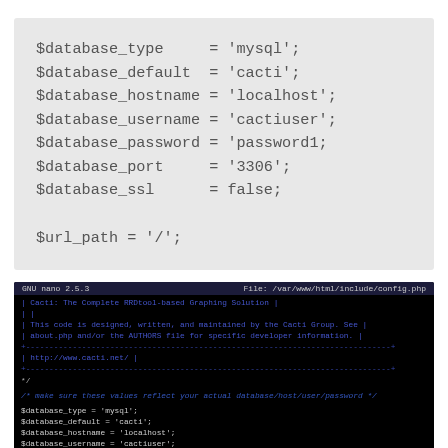[Figure (screenshot): Code block on grey background showing PHP database configuration variables: $database_type = 'mysql'; $database_default = 'cacti'; $database_hostname = 'localhost'; $database_username = 'cactiuser'; $database_password = 'password1; $database_port = '3306'; $database_ssl = false; $url_path = '/';]
[Figure (screenshot): Terminal screenshot showing GNU nano 2.5.3 editing /var/www/html/include/config.php with Cacti configuration file contents visible including database settings]